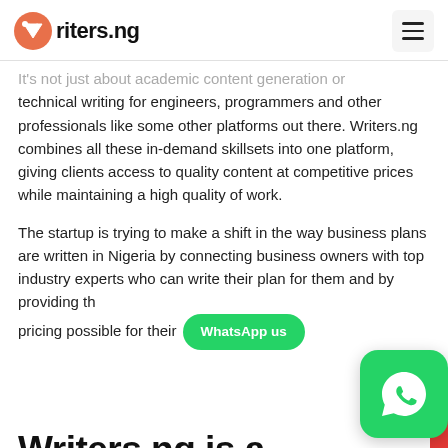Writers.ng
It's not just about academic content generation or technical writing for engineers, programmers and other professionals like some other platforms out there. Writers.ng combines all these in-demand skillsets into one platform, giving clients access to quality content at competitive prices while maintaining a high quality of work.
The startup is trying to make a shift in the way business plans are written in Nigeria by connecting business owners with top industry experts who can write their plan for them and by providing the pricing possible for their [WhatsApp us button]
Writers.ng is a